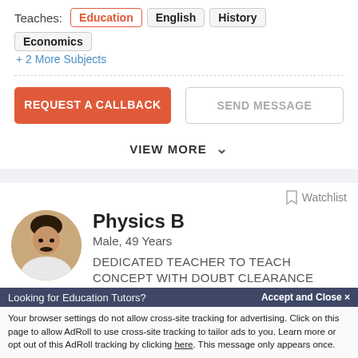Teaches: Education  English  History  Economics
+ 2 More Subjects
REQUEST A CALLBACK
SEND MESSAGE
VIEW MORE
Watchlist
Physics B
Male, 49 Years
DEDICATED TEACHER TO TEACH CONCEPT WITH DOUBT CLEARANCE
Looking for Education Tutors?
Accept and Close ✕
Your browser settings do not allow cross-site tracking for advertising. Click on this page to allow AdRoll to use cross-site tracking to tailor ads to you. Learn more or opt out of this AdRoll tracking by clicking here. This message only appears once.